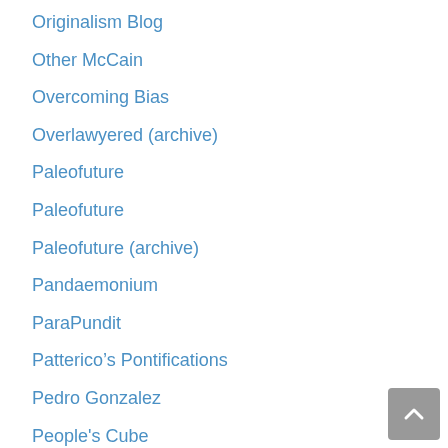Originalism Blog
Other McCain
Overcoming Bias
Overlawyered (archive)
Paleofuture
Paleofuture
Paleofuture (archive)
Pandaemonium
ParaPundit
Patterico’s Pontifications
Pedro Gonzalez
People's Cube
Peter Saint-Andre
PHOTON COURIER